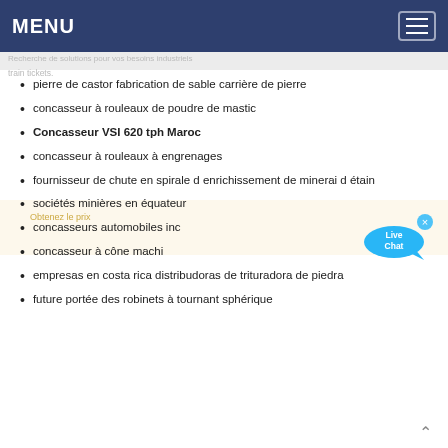MENU
pierre de castor fabrication de sable carrière de pierre
concasseur à rouleaux de poudre de mastic
Concasseur VSI 620 tph Maroc
concasseur à rouleaux à engrenages
fournisseur de chute en spirale d enrichissement de minerai d étain
sociétés minières en équateur
concasseurs automobiles inc
concasseur à cône machi
empresas en costa rica distribudoras de trituradora de piedra
future portée des robinets à tournant sphérique